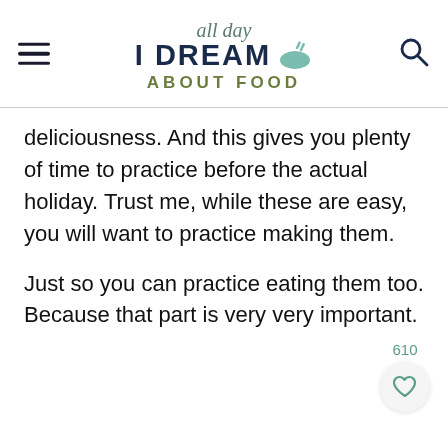all day I DREAM ABOUT FOOD
deliciousness. And this gives you plenty of time to practice before the actual holiday. Trust me, while these are easy, you will want to practice making them.
Just so you can practice eating them too. Because that part is very very important.